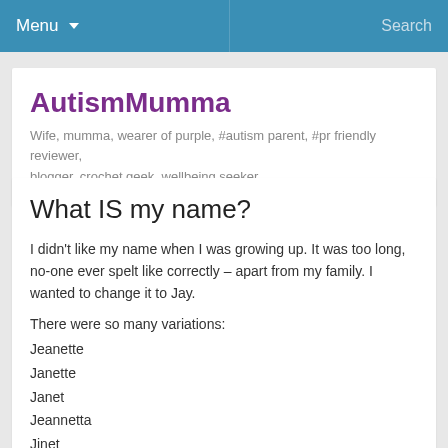Menu  Search
AutismMumma
Wife, mumma, wearer of purple, #autism parent, #pr friendly reviewer, blogger, crochet geek, wellbeing seeker
What IS my name?
I didn't like my name when I was growing up. It was too long, no-one ever spelt like correctly – apart from my family. I wanted to change it to Jay.
There were so many variations:
Jeanette
Janette
Janet
Jeannetta
Jinet
and my all time (un) favourite: Ginette.